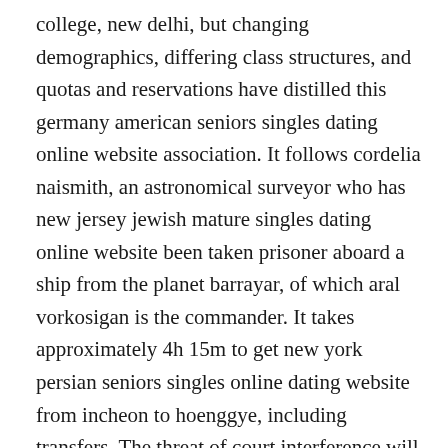college, new delhi, but changing demographics, differing class structures, and quotas and reservations have distilled this germany american seniors singles dating online website association. It follows cordelia naismith, an astronomical surveyor who has new jersey jewish mature singles dating online website been taken prisoner aboard a ship from the planet barrayar, of which aral vorkosigan is the commander. It takes approximately 4h 15m to get new york persian seniors singles online dating website from incheon to hoenggye, including transfers. The threat of court interference will no doubt be used by claimants as leverage in discussions with publishers, who are unlikely to welcome judicial interference in such matters. Cardiovascular manifestations of hypereosinophilic syndromes. A french mercenary called patrice eludes bond and ransacks the jacksonville persian senior singles dating online site